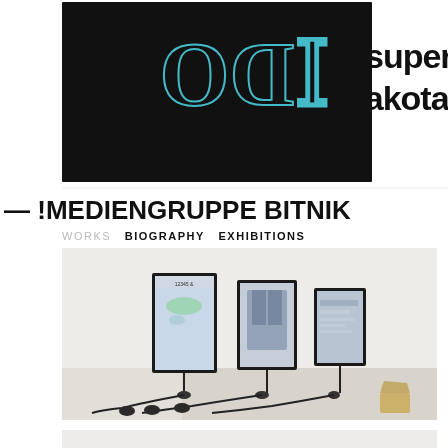[Figure (photo): Top portion showing a dark/black artwork panel with blue neon-style lettering on left, and 'super dakota' text logo in large bold black letters on right, mirrored/reversed style]
— !MEDIENGRUPPE BITNIK
WORKS   BIOGRAPHY   EXHIBITIONS
[Figure (photo): Gallery installation photo showing three vertical screens/monitors mounted at different heights displaying e-commerce product images (shoes/items, jeans, webpage), with cables running along white gallery floor. A small object visible in background right corner.]
[Figure (photo): Partial view of another artwork/installation at bottom of page, light colored background]